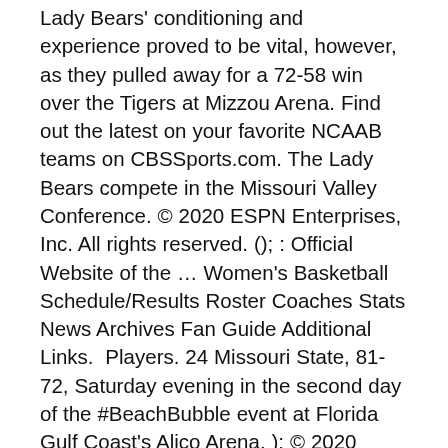Lady Bears' conditioning and experience proved to be vital, however, as they pulled away for a 72-58 win over the Tigers at Mizzou Arena. Find out the latest on your favorite NCAAB teams on CBSSports.com. The Lady Bears compete in the Missouri Valley Conference. © 2020 ESPN Enterprises, Inc. All rights reserved. (); : Official Website of the … Women's Basketball Schedule/Results Roster Coaches Stats News Archives Fan Guide Additional Links.  Players. 24 Missouri State, 81-72, Saturday evening in the second day of the #BeachBubble event at Florida Gulf Coast's Alico Arena. ); © 2020 Missouri State University Athletics, 901 S National Ave, Springfield, MO 65897. Go To Coaching Staff . Skip To Main Content . 2020 season schedule, scores, stats, and highlights. The use of software that blocks ads hinders our ability to serve you the content you came here to enjoy. Skip To Main Content . The 2016–17 Missouri State Lady Bears basketball team represented Missouri State University during the 2016–